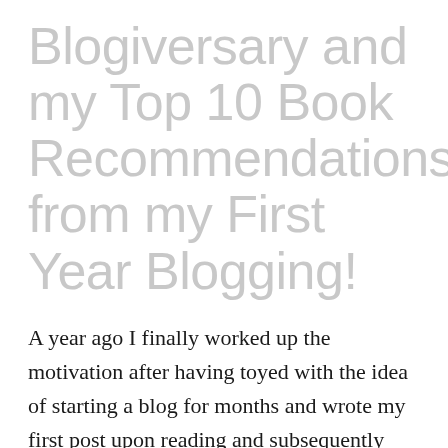Blogiversary and my Top 10 Book Recommendations from my First Year Blogging!
A year ago I finally worked up the motivation after having toyed with the idea of starting a blog for months and wrote my first post upon reading and subsequently being inspired by The Martian. Within this first year, I've posted over 90 entries with approximately 85 books in all and as of three days ago broke 500 followers. I'm excited to find out which new books, or perhaps...